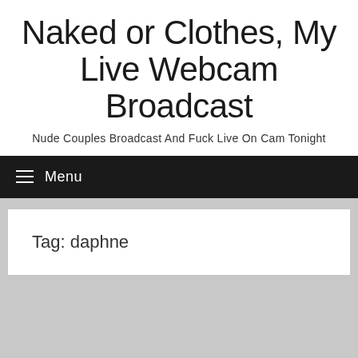Naked or Clothes, My Live Webcam Broadcast
Nude Couples Broadcast And Fuck Live On Cam Tonight
Menu
Tag: daphne